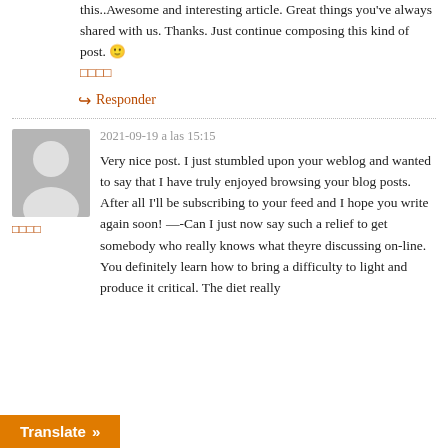this..Awesome and interesting article. Great things you've always shared with us. Thanks. Just continue composing this kind of post. 🙂
□□□□
↪ Responder
2021-09-19 a las 15:15
[Figure (illustration): Generic gray user avatar placeholder image with silhouette of a person]
□□□□
Very nice post. I just stumbled upon your weblog and wanted to say that I have truly enjoyed browsing your blog posts. After all I'll be subscribing to your feed and I hope you write again soon! —-Can I just now say such a relief to get somebody who really knows what theyre discussing on-line. You definitely learn how to bring a difficulty to light and produce it critical. The diet really
Translate »